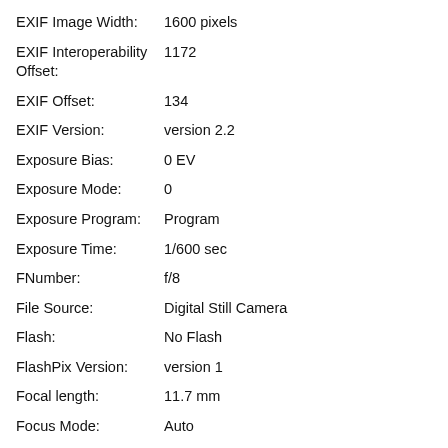EXIF Image Width: 1600 pixels
EXIF Interoperability Offset: 1172
EXIF Offset: 134
EXIF Version: version 2.2
Exposure Bias: 0 EV
Exposure Mode: 0
Exposure Program: Program
Exposure Time: 1/600 sec
FNumber: f/8
File Source: Digital Still Camera
Flash: No Flash
FlashPix Version: version 1
Focal length: 11.7 mm
Focus Mode: Auto
ISO: 200
Light Source: Unknown: 0
Make: Fujifilm
Max Aperture: f/2.8
Metering Mode: Pattern